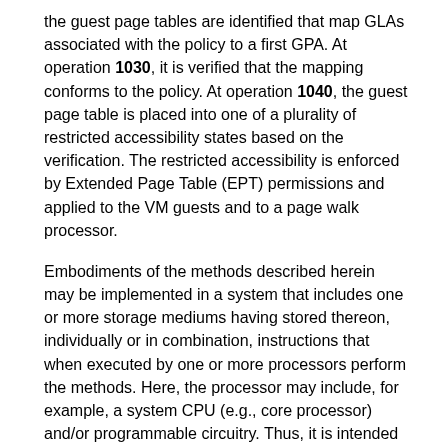the guest page tables are identified that map GLAs associated with the policy to a first GPA. At operation 1030, it is verified that the mapping conforms to the policy. At operation 1040, the guest page table is placed into one of a plurality of restricted accessibility states based on the verification. The restricted accessibility is enforced by Extended Page Table (EPT) permissions and applied to the VM guests and to a page walk processor.
Embodiments of the methods described herein may be implemented in a system that includes one or more storage mediums having stored thereon, individually or in combination, instructions that when executed by one or more processors perform the methods. Here, the processor may include, for example, a system CPU (e.g., core processor) and/or programmable circuitry. Thus, it is intended that operations according to the methods described herein may be distributed across a plurality of physical devices, such as processing structures at several different physical locations. Also, it is intended that the method operations may be performed individually or in a subcombination, as would be understood by one skilled in the art. Thus, not all of the operations of each of the flow